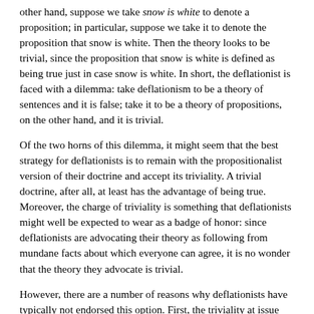other hand, suppose we take snow is white to denote a proposition; in particular, suppose we take it to denote the proposition that snow is white. Then the theory looks to be trivial, since the proposition that snow is white is defined as being true just in case snow is white. In short, the deflationist is faced with a dilemma: take deflationism to be a theory of sentences and it is false; take it to be a theory of propositions, on the other hand, and it is trivial.
Of the two horns of this dilemma, it might seem that the best strategy for deflationists is to remain with the propositionalist version of their doctrine and accept its triviality. A trivial doctrine, after all, at least has the advantage of being true. Moreover, the charge of triviality is something that deflationists might well be expected to wear as a badge of honor: since deflationists are advocating their theory as following from mundane facts about which everyone can agree, it is no wonder that the theory they advocate is trivial.
However, there are a number of reasons why deflationists have typically not endorsed this option. First, the triviality at issue here does not have its source in the concept of truth, but rather in the concept of a proposition. Second, a trivial version of deflationism says nothing about the theory of meaning, where by 'theory of meaning', I mean an account of the connections between sentences of natural language and the propositions they express. After all, if